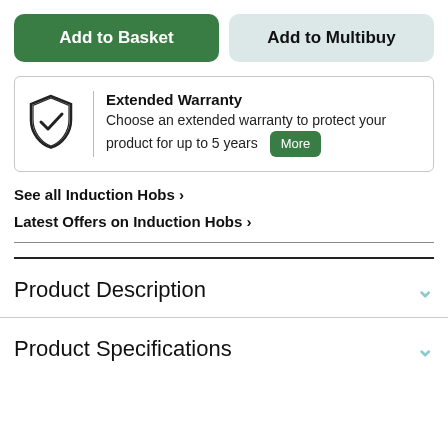Add to Basket
Add to Multibuy
[Figure (illustration): Shield with checkmark icon representing warranty protection]
Extended Warranty
Choose an extended warranty to protect your product for up to 5 years
More
See all Induction Hobs >
Latest Offers on Induction Hobs >
Product Description
Product Specifications